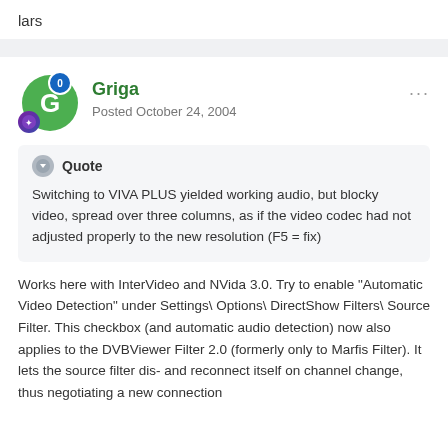lars
Griga
Posted October 24, 2004
Quote
Switching to VIVA PLUS yielded working audio, but blocky video, spread over three columns, as if the video codec had not adjusted properly to the new resolution (F5 = fix)
Works here with InterVideo and NVida 3.0. Try to enable "Automatic Video Detection" under Settings\ Options\ DirectShow Filters\ Source Filter. This checkbox (and automatic audio detection) now also applies to the DVBViewer Filter 2.0 (formerly only to Marfis Filter). It lets the source filter dis- and reconnect itself on channel change, thus negotiating a new connection